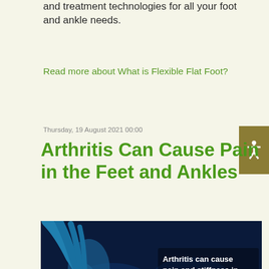and treatment technologies for all your foot and ankle needs.
Read more about What is Flexible Flat Foot?
Thursday, 19 August 2021 00:00
Arthritis Can Cause Pain in the Feet and Ankles
[Figure (photo): Medical illustration showing ankle joint with arthritis inflammation, glowing red area on bones, with text overlay: 'Arthritis can cause pain and stiffness in the feet or ankles.']